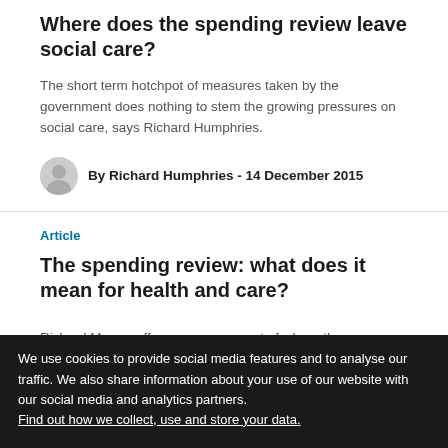Where does the spending review leave social care?
The short term hotchpot of measures taken by the government does nothing to stem the growing pressures on social care, says Richard Humphries.
By Richard Humphries - 14 December 2015
Article
The spending review: what does it mean for health and care?
Richard Murray offers an assessment of where the comprehensive spending review leaves health and social
By Richard Murray - 30 November 2015
We use cookies to provide social media features and to analyse our traffic. We also share information about your use of our website with our social media and analytics partners. Find out how we collect, use and store your data.